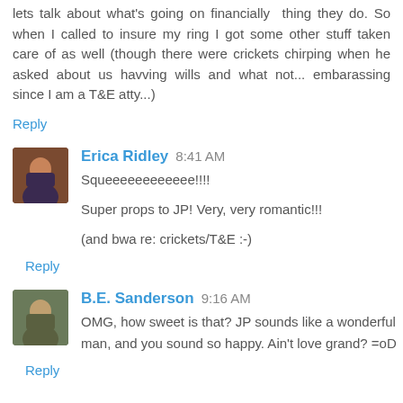lets talk about what's going on financially  thing they do. So when I called to insure my ring I got some other stuff taken care of as well (though there were crickets chirping when he asked about us havving wills and what not... embarassing since I am a T&E atty...)
Reply
Erica Ridley 8:41 AM
Squeeeeeeeeeeee!!!!
Super props to JP! Very, very romantic!!!
(and bwa re: crickets/T&E :-)
Reply
B.E. Sanderson 9:16 AM
OMG, how sweet is that? JP sounds like a wonderful man, and you sound so happy. Ain't love grand? =oD
Reply